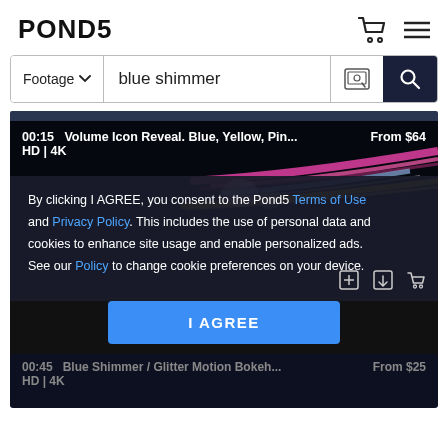POND5
Footage ∨   blue shimmer
[Figure (screenshot): Video thumbnail showing colorful light streaks (pink, gold, blue) on dark background. Overlay text: 00:15  Volume Icon Reveal. Blue, Yellow, Pin...  From $64  HD | 4K]
By clicking I AGREE, you consent to the Pond5 Terms of Use and Privacy Policy. This includes the use of personal data and cookies to enhance site usage and enable personalized ads. See our Policy to change cookie preferences on your device.
I AGREE
00:45  Blue Shimmer / Glitter Motion Bokeh...  From $25  HD | 4K